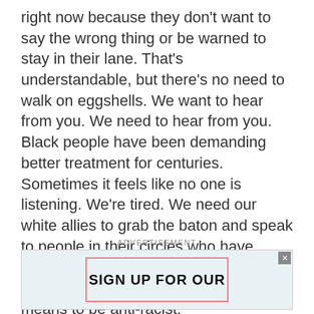right now because they don't want to say the wrong thing or be warned to stay in their lane. That's understandable, but there's no need to walk on eggshells. We want to hear from you. We need to hear from you. Black people have been demanding better treatment for centuries. Sometimes it feels like no one is listening. We're tired. We need our white allies to grab the baton and speak to people in their circles who have tuned out our broken record. Find out what anti-racism means and what it means to be anti-racist.
ADVERTISEMENT
[Figure (other): Advertisement banner with light blue background showing 'SIGN UP FOR OUR' text in bold black uppercase letters, with a pink/red border frame and a close button (X) in the top right corner.]